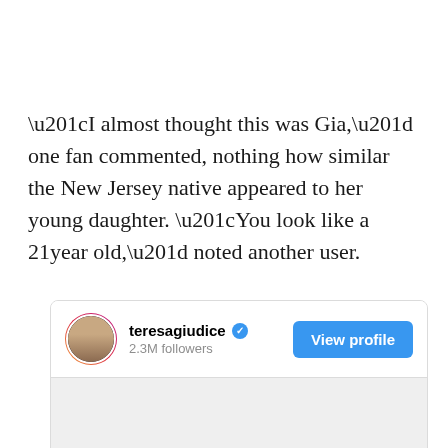“I almost thought this was Gia,” one fan commented, nothing how similar the New Jersey native appeared to her young daughter. “You look like a 21year old,” noted another user.
[Figure (screenshot): Instagram profile card for teresagiudice showing 2.3M followers and a View profile button]